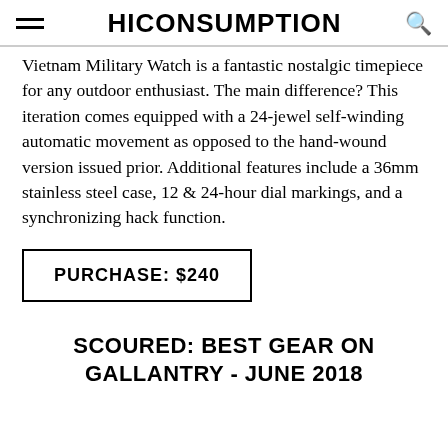HICONSUMPTION
Vietnam Military Watch is a fantastic nostalgic timepiece for any outdoor enthusiast. The main difference? This iteration comes equipped with a 24-jewel self-winding automatic movement as opposed to the hand-wound version issued prior. Additional features include a 36mm stainless steel case, 12 & 24-hour dial markings, and a synchronizing hack function.
PURCHASE: $240
SCOURED: BEST GEAR ON GALLANTRY - JUNE 2018